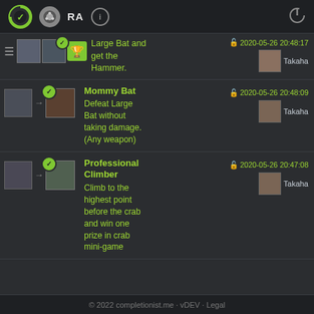RA  [info]  [power]
Large Bat and get the Hammer.  2020-05-26 20:48:17  Takaha
Mommy Bat — Defeat Large Bat without taking damage. (Any weapon)  2020-05-26 20:48:09  Takaha
Professional Climber — Climb to the highest point before the crab and win one prize in crab mini-game  2020-05-26 20:47:08  Takaha
© 2022 completionist.me · vDEV · Legal